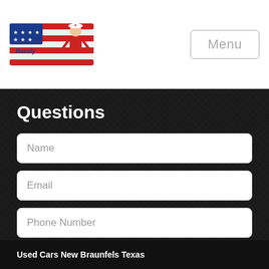[Figure (logo): Randy Adams logo with American flag styling and cartoon figure]
Menu
Questions
Name
Email
Phone Number
Contact Us Now
Used Cars New Braunfels Texas